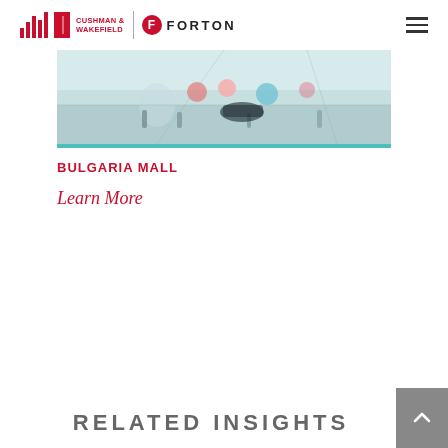Cushman & Wakefield | Forton
[Figure (photo): Interior view of Bulgaria Mall shopping center with colorful balloons and shoppers viewed from above]
BULGARIA MALL
Learn More
RELATED INSIGHTS